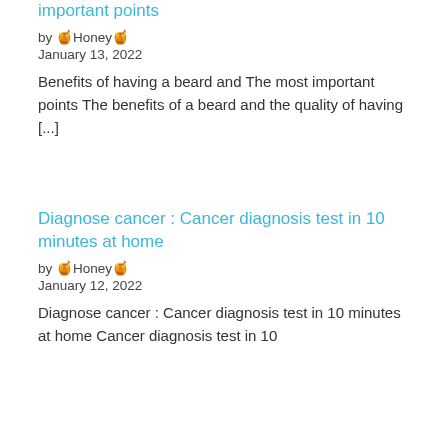important points
by 🍯Honey🍯
January 13, 2022
Benefits of having a beard and The most important points The benefits of a beard and the quality of having [...]
Diagnose cancer : Cancer diagnosis test in 10 minutes at home
by 🍯Honey🍯
January 12, 2022
Diagnose cancer : Cancer diagnosis test in 10 minutes at home Cancer diagnosis test in 10